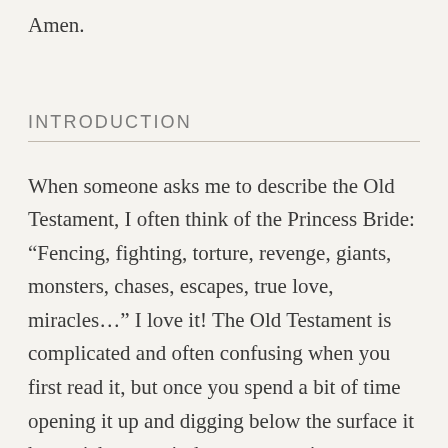Amen.
INTRODUCTION
When someone asks me to describe the Old Testament, I often think of the Princess Bride: “Fencing, fighting, torture, revenge, giants, monsters, chases, escapes, true love, miracles…” I love it! The Old Testament is complicated and often confusing when you first read it, but once you spend a bit of time opening it up and digging below the surface it has a richness to it that can sometimes